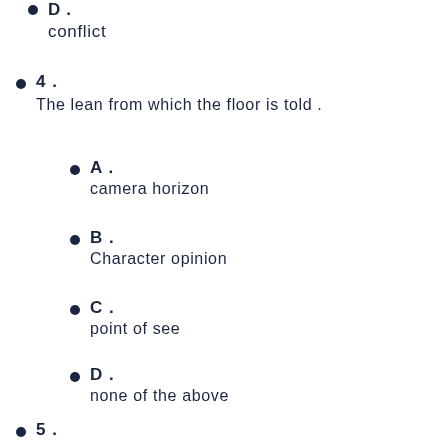D.
conflict
4.
The lean from which the floor is told .
A.
camera horizon
B.
Character opinion
C.
point of see
D.
none of the above
5.